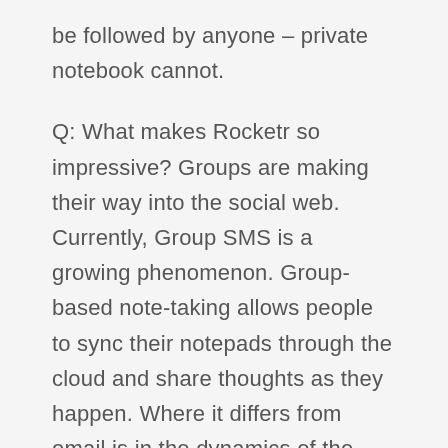be followed by anyone – private notebook cannot.
Q: What makes Rocketr so impressive? Groups are making their way into the social web. Currently, Group SMS is a growing phenomenon. Group-based note-taking allows people to sync their notepads through the cloud and share thoughts as they happen. Where it differs from email is in the dynamics of the system. Whereas email implicitly suggests urgency, priority and to-dos (things that tend to kill ideas